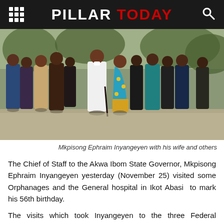PILLAR TODAY
[Figure (photo): Group of people standing outdoors including Mkpisong Ephraim Inyangeyen in white outfit with a walking stick, his wife in blue and yellow dress, surrounded by several men in various attire]
Mkpisong Ephraim Inyangeyen with his wife and others
The Chief of Staff to the Akwa Ibom State Governor, Mkpisong Ephraim Inyangeyen yesterday (November 25) visited some Orphanages and the General hospital in Ikot Abasi  to mark his 56th birthday.
The visits which took Inyangeyen to the three Federal Constituencies